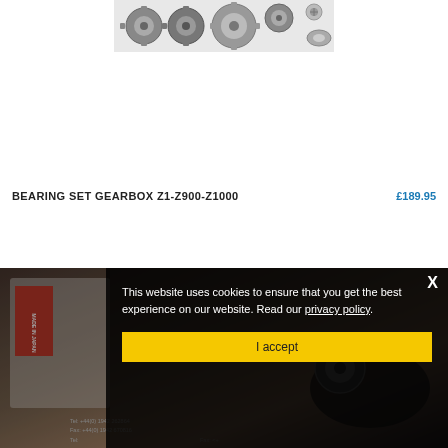[Figure (photo): Close-up photo of multiple small metal bearing sets/gears arranged together on a white background]
BEARING SET GEARBOX Z1-Z900-Z1000 £189.95
[Figure (screenshot): Cookie consent overlay dialog on a product/motorcycle parts website, with a photo of gearbox bearing components in packaging in the background. Dialog text: 'This website uses cookies to ensure that you get the best experience on our website. Read our privacy policy.' with an 'I accept' yellow button and X close button.]